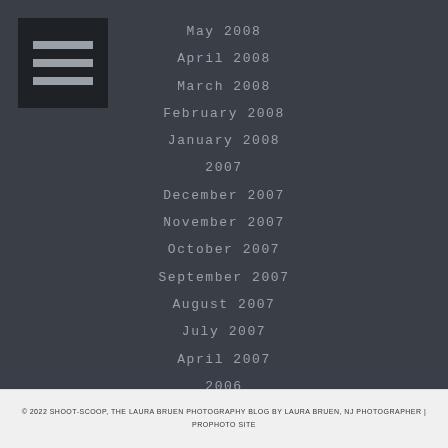[Figure (other): Hamburger menu icon — black square with three horizontal grey lines]
May 2008
April 2008
March 2008
February 2008
January 2008
2007
December 2007
November 2007
October 2007
September 2007
August 2007
July 2007
April 2007
2006
July 2006
February 2006
© 2022 SHOOT-SCOOP, THE LAURA BRUEN PHOTOGRAPHY BLOG BY LAURA BRUEN, NJ PHOTOGRAPHER | PROPHOTO SITE